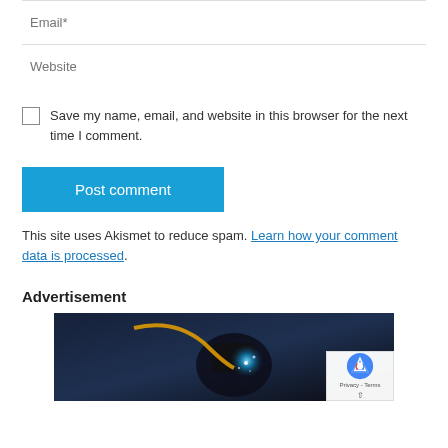Email*
Website
Save my name, email, and website in this browser for the next time I comment.
Post comment
This site uses Akismet to reduce spam. Learn how your comment data is processed.
Advertisement
[Figure (photo): Advertisement image showing a welder at work with blue welding arc glow and orange cable, dark industrial background. reCAPTCHA badge visible in bottom right corner.]